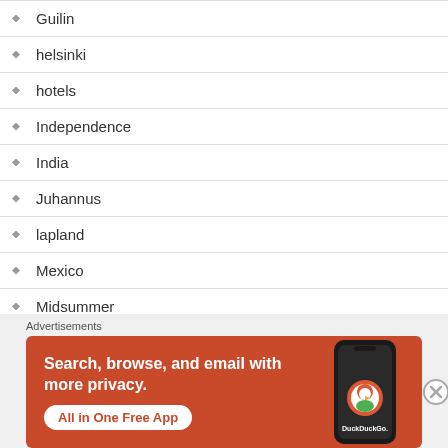Guilin
helsinki
hotels
Independence
India
Juhannus
lapland
Mexico
Midsummer
mountains
Advertisements
[Figure (other): DuckDuckGo advertisement banner: 'Search, browse, and email with more privacy. All in One Free App' on orange background with phone mockup showing DuckDuckGo logo]